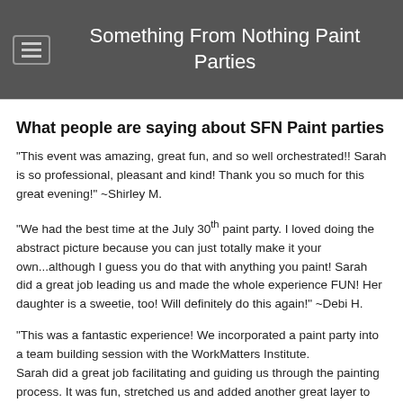Something From Nothing Paint Parties
What people are saying about SFN Paint parties
"This event was amazing, great fun, and so well orchestrated!! Sarah is so professional, pleasant and kind! Thank you so much for this great evening!" ~Shirley M.
"We had the best time at the July 30th paint party. I loved doing the abstract picture because you can just totally make it your own...although I guess you do that with anything you paint! Sarah did a great job leading us and made the whole experience FUN! Her daughter is a sweetie, too! Will definitely do this again!" ~Debi H.
"This was a fantastic experience! We incorporated a paint party into a team building session with the WorkMatters Institute. Sarah did a great job facilitating and guiding us through the painting process. It was fun, stretched us and added another great layer to our